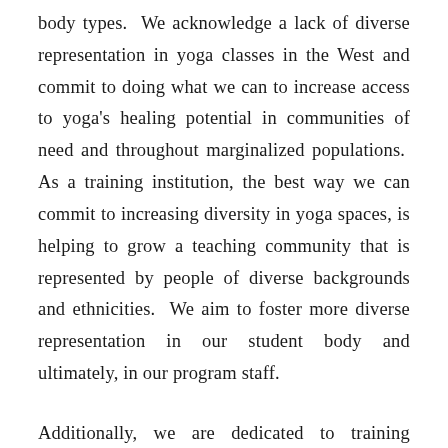body types. We acknowledge a lack of diverse representation in yoga classes in the West and commit to doing what we can to increase access to yoga's healing potential in communities of need and throughout marginalized populations. As a training institution, the best way we can commit to increasing diversity in yoga spaces, is helping to grow a teaching community that is represented by people of diverse backgrounds and ethnicities. We aim to foster more diverse representation in our student body and ultimately, in our program staff.
Additionally, we are dedicated to training teachers who promote inclusivity, accessibility, and value racial equity.